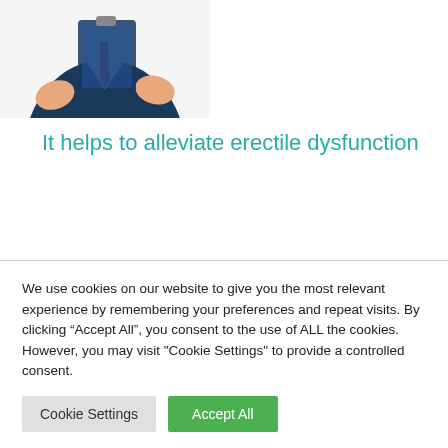[Figure (illustration): Partial illustration of a doctor or medical professional holding a clipboard, shown from torso down, wearing a white coat with a red tie, with orange/skin-toned hands visible. Only the bottom portion of the illustration is visible.]
It helps to alleviate erectile dysfunction
Various studies have shown the positive impact of maca in the reduction of erectile dysfunction. Erectile dysfunction is the inability to get and keep an erection firm enough for sex. Many people suffering
We use cookies on our website to give you the most relevant experience by remembering your preferences and repeat visits. By clicking “Accept All”, you consent to the use of ALL the cookies. However, you may visit "Cookie Settings" to provide a controlled consent.